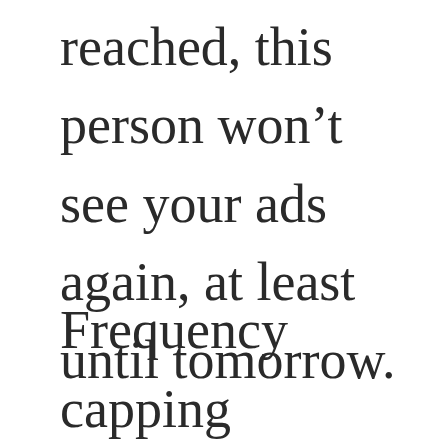reached, this person won't see your ads again, at least until tomorrow.
Frequency capping